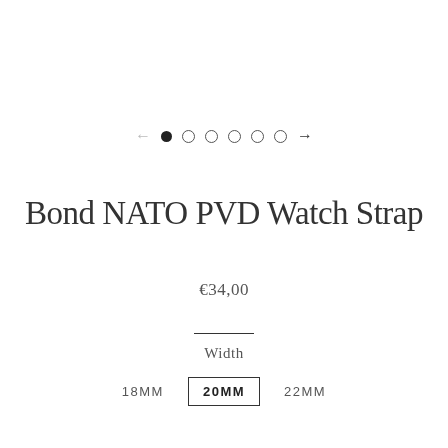[Figure (other): Carousel navigation: left arrow (grey), one filled dot and five empty circle dots, right arrow (dark)]
Bond NATO PVD Watch Strap
€34,00
Width
18MM  20MM  22MM